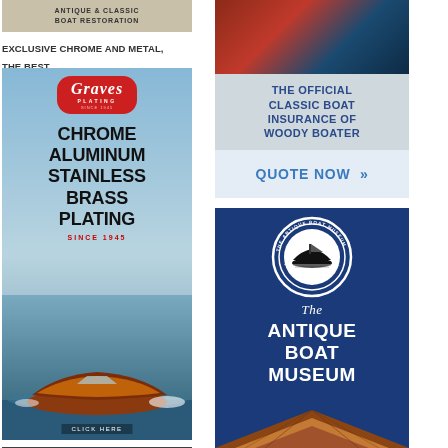[Figure (illustration): Antique and Classic Boat Restoration partial banner ad with tan/beige background]
EXCLUSIVE CHROME AND METAL, THE BEST
[Figure (illustration): Graves Plating advertisement showing red logo, chrome/aluminum/stainless/brass plating text, boat photo, and CLICK HERE button. Since 1945.]
[Figure (illustration): The Official Classic Boat Insurance of Woody Boater with QUOTE NOW >> button]
[Figure (illustration): The Antique Boat Museum advertisement on dark blue background with circular badge logo and boat bow image at bottom]
[Figure (illustration): Partial dark gray advertisement at bottom left]